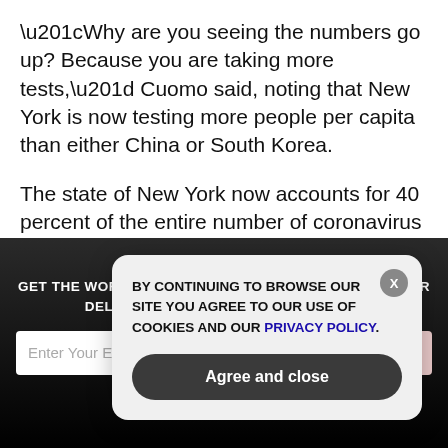“Why are you seeing the numbers go up? Because you are taking more tests,” Cuomo said, noting that New York is now testing more people per capita than either China or South Korea.
The state of New York now accounts for 40 percent of the entire number of coronavirus cases in the United States.
As a response to the exponential rise in positive cases in
GET THE WORLD'S BEST NATURAL HEALTH NEWSLETTER DELIVERED STRAIGHT TO YOUR INBOX
BY CONTINUING TO BROWSE OUR SITE YOU AGREE TO OUR USE OF COOKIES AND OUR PRIVACY POLICY.
Agree and close